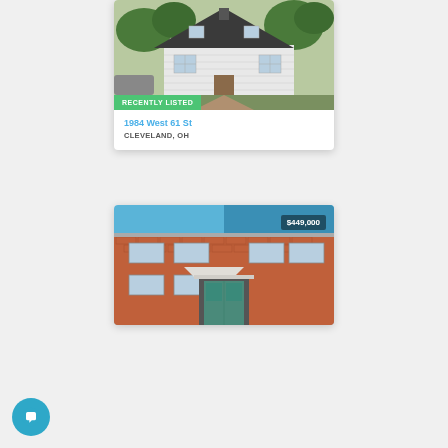[Figure (photo): White clapboard house with dark roof and overgrown yard, recently listed property photo]
RECENTLY LISTED
1984 West 61 St
CLEVELAND, OH
[Figure (photo): Brick two-story house with colonial-style doorway, price shown as $449,000]
$449,000